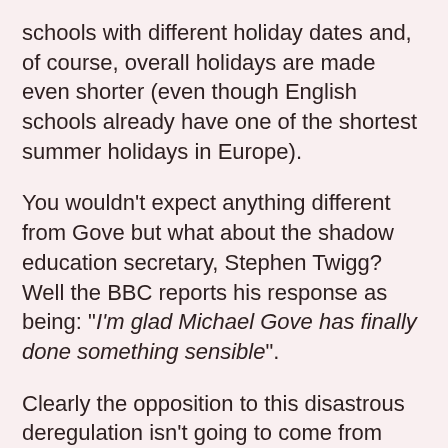schools with different holiday dates and, of course, overall holidays are made even shorter (even though English schools already have one of the shortest summer holidays in Europe).
You wouldn't expect anything different from Gove but what about the shadow education secretary, Stephen Twigg? Well the BBC reports his response as being: "I'm glad Michael Gove has finally done something sensible".
Clearly the opposition to this disastrous deregulation isn't going to come from New Labour's Front bench. Teachers are going to have to rely on our own strength to save education from the attacks from all the main political parties.
We are going to have to go out to parents and the public and explain why our struggle is part of a struggle for education as a whole. We will find